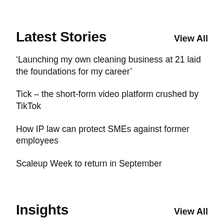Latest Stories
View All
‘Launching my own cleaning business at 21 laid the foundations for my career’
Tick – the short-form video platform crushed by TikTok
How IP law can protect SMEs against former employees
Scaleup Week to return in September
Insights
View All